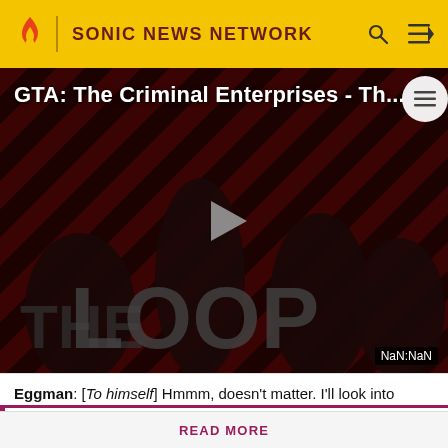SONIC NEWS NETWORK
[Figure (screenshot): Video thumbnail for GTA: The Criminal Enterprises - Th... showing group of characters on a dark red striped background with play button overlay and 'THE LOOP' text. NaN:NaN timestamp shown.]
GTA: The Criminal Enterprises - Th...
Eggman: [To himself] Hmmm, doesn't matter. I'll look into
Know something we don't about Sonic? Don't hesitate in signing up today! It's fast, free, and easy, and you will get a
READ MORE